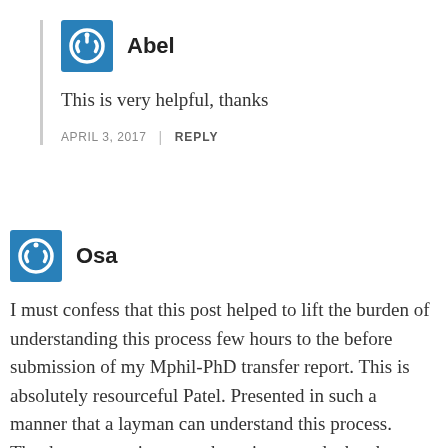Abel
This is very helpful, thanks
APRIL 3, 2017  |  REPLY
Osa
I must confess that this post helped to lift the burden of understanding this process few hours to the before submission of my Mphil-PhD transfer report. This is absolutely resourceful Patel. Presented in such a manner that a layman can understand this process. Thanks once again as you have just saved a brother.